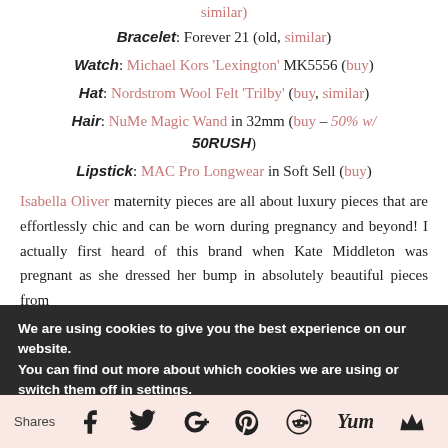similar)
Bracelet: Forever 21 (old, similar)
Watch: Michael Kors 'Lexington' MK5556 (buy)
Hat: Nordstrom Wool Felt 'Trilby' (buy, similar)
Hair: NuMe Magic Wand in 32mm (buy – 50% w/ 50RUSH)
Lipstick: MAC Pro Longwear in Soft Sell (buy)
Isabella Oliver maternity pieces are all about luxury pieces that are effortlessly chic and can be worn during pregnancy and beyond! I actually first heard of this brand when Kate Middleton was pregnant as she dressed her bump in absolutely beautiful pieces from
We are using cookies to give you the best experience on our website.
You can find out more about which cookies we are using or switch them off in settings.
Shares